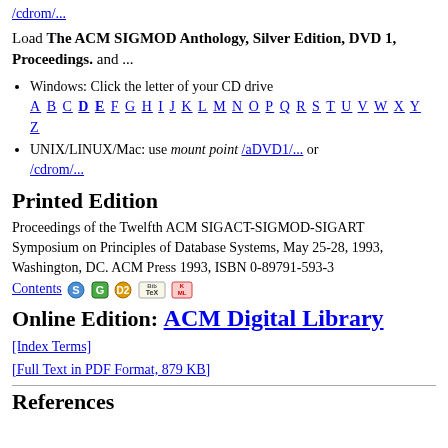/cdrom/...
Load The ACM SIGMOD Anthology, Silver Edition, DVD 1, Proceedings. and ...
Windows: Click the letter of your CD drive A B C D E F G H I J K L M N O P Q R S T U V W X Y Z
UNIX/LINUX/Mac: use mount point /aDVD1/... or /cdrom/...
Printed Edition
Proceedings of the Twelfth ACM SIGACT-SIGMOD-SIGART Symposium on Principles of Database Systems, May 25-28, 1993, Washington, DC. ACM Press 1993, ISBN 0-89791-593-3
Contents [icons]
Online Edition: ACM Digital Library
[Index Terms]
[Full Text in PDF Format, 879 KB]
References